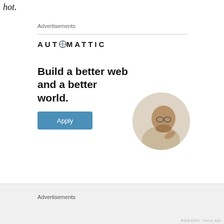hot.
Advertisements
[Figure (infographic): Automattic advertisement: logo at top (AUTOMATTIC with compass icon replacing the O), bold headline 'Build a better web and a better world.', blue Apply button, circular photo of a person thinking at a desk.]
REPORT THIS AD
Nevertheless, the rhetoric works by drawing the
Advertisements
REPORT THIS AD